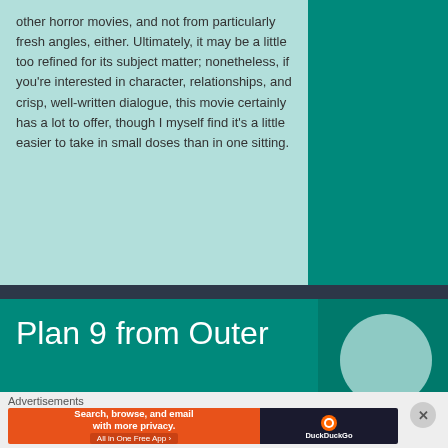other horror movies, and not from particularly fresh angles, either. Ultimately, it may be a little too refined for its subject matter; nonetheless, if you're interested in character, relationships, and crisp, well-written dialogue, this movie certainly has a lot to offer, though I myself find it's a little easier to take in small doses than in one sitting.
1 COMMENT   LEAVE A COMMENT
Plan 9 from Outer
Advertisements
[Figure (screenshot): DuckDuckGo advertisement banner: orange section reading 'Search, browse, and email with more privacy. All in One Free App' and dark section with DuckDuckGo logo]